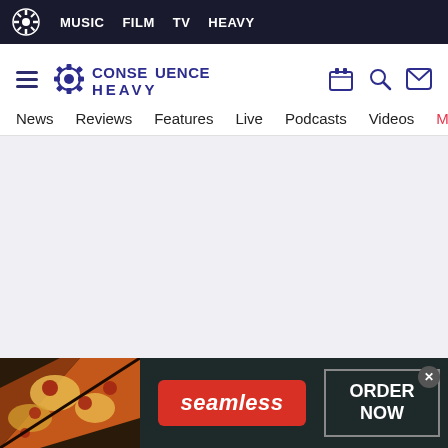MUSIC  FILM  TV  HEAVY
[Figure (logo): Consequence Heavy logo with gear icon and text CONSEQUENCE HEAVY in dark blue]
News  Reviews  Features  Live  Podcasts  Videos  Mobile A
[Figure (other): Gray placeholder content area]
[Figure (other): Seamless food delivery advertisement banner with pizza image, red Seamless button, and ORDER NOW button on dark background]